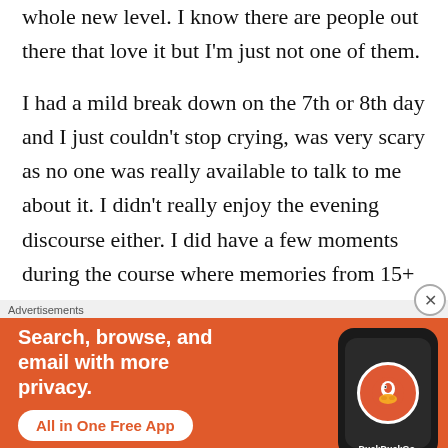whole new level. I know there are people out there that love it but I'm just not one of them.

I had a mild break down on the 7th or 8th day and I just couldn't stop crying, was very scary as no one was really available to talk to me about it. I didn't really enjoy the evening discourse either. I did have a few moments during the course where memories from 15+ years ago just popped into my head, usually during a really nice deep meditation which was pretty cool. It made me excited about what else might happen but
[Figure (screenshot): DuckDuckGo advertisement banner with orange background. Text reads 'Search, browse, and email with more privacy. All in One Free App' alongside an image of a smartphone showing the DuckDuckGo logo.]